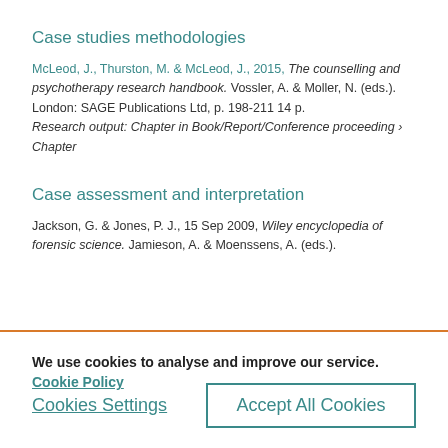Case studies methodologies
McLeod, J., Thurston, M. & McLeod, J., 2015, The counselling and psychotherapy research handbook. Vossler, A. & Moller, N. (eds.). London: SAGE Publications Ltd, p. 198-211 14 p. Research output: Chapter in Book/Report/Conference proceeding › Chapter
Case assessment and interpretation
Jackson, G. & Jones, P. J., 15 Sep 2009, Wiley encyclopedia of forensic science. Jamieson, A. & Moenssens, A. (eds.).
We use cookies to analyse and improve our service. Cookie Policy
Cookies Settings
Accept All Cookies